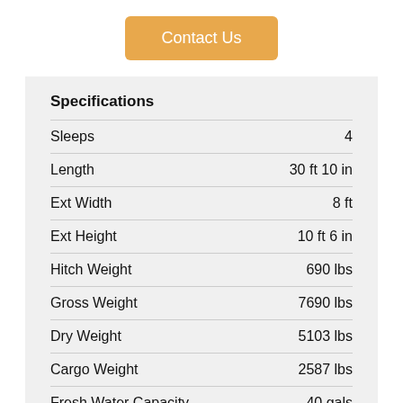Contact Us
Specifications
| Specification | Value |
| --- | --- |
| Sleeps | 4 |
| Length | 30 ft 10 in |
| Ext Width | 8 ft |
| Ext Height | 10 ft 6 in |
| Hitch Weight | 690 lbs |
| Gross Weight | 7690 lbs |
| Dry Weight | 5103 lbs |
| Cargo Weight | 2587 lbs |
| Fresh Water Capacity | 40 gals |
| Grey Water Capacity | 38 gals |
| Black Water Capacity | 38 gals |